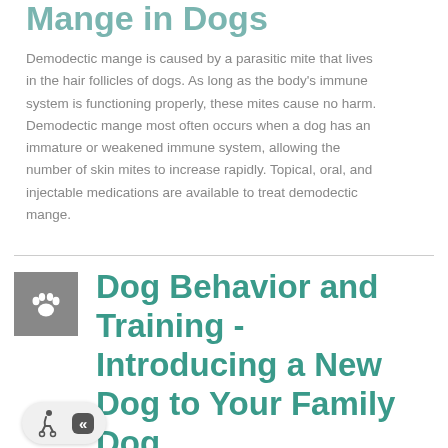Mange in Dogs
Demodectic mange is caused by a parasitic mite that lives in the hair follicles of dogs. As long as the body's immune system is functioning properly, these mites cause no harm. Demodectic mange most often occurs when a dog has an immature or weakened immune system, allowing the number of skin mites to increase rapidly. Topical, oral, and injectable medications are available to treat demodectic mange.
Dog Behavior and Training - Introducing a New Dog to Your Family Dog